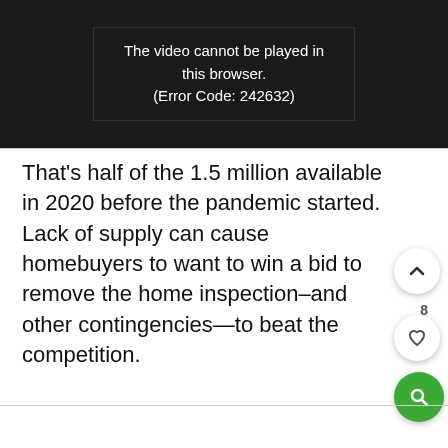[Figure (screenshot): Video player showing error message: 'The video cannot be played in this browser. (Error Code: 242632)' on black background]
That's half of the 1.5 million available in 2020 before the pandemic started. Lack of supply can cause homebuyers to want to win a bid to remove the home inspection–and other contingencies—to beat the competition.